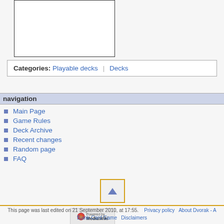[Figure (other): Empty white box with black border, representing an image placeholder]
Categories: Playable decks | Decks
navigation
Main Page
Game Rules
Deck Archive
Recent changes
Random page
FAQ
[Figure (other): Scroll-to-top button with upward triangle arrow, bordered in orange/gold]
[Figure (logo): Powered by MediaWiki badge]
This page was last edited on 21 September 2010, at 17:55.   Privacy policy   About Dvorak - A Blank-Card Game   Disclaimers